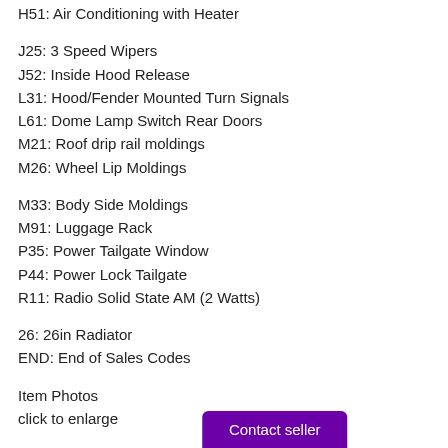H51: Air Conditioning with Heater
J25: 3 Speed Wipers
J52: Inside Hood Release
L31: Hood/Fender Mounted Turn Signals
L61: Dome Lamp Switch Rear Doors
M21: Roof drip rail moldings
M26: Wheel Lip Moldings
M33: Body Side Moldings
M91: Luggage Rack
P35: Power Tailgate Window
P44: Power Lock Tailgate
R11: Radio Solid State AM (2 Watts)
26: 26in Radiator
END: End of Sales Codes
Item Photos
click to enlarge
Contact seller